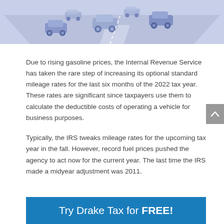[Figure (illustration): Isometric illustration of cars on a highway road with light blue/purple color scheme]
Due to rising gasoline prices, the Internal Revenue Service has taken the rare step of increasing its optional standard mileage rates for the last six months of the 2022 tax year. These rates are significant since taxpayers use them to calculate the deductible costs of operating a vehicle for business purposes.
Typically, the IRS tweaks mileage rates for the upcoming tax year in the fall. However, record fuel prices pushed the agency to act now for the current year. The last time the IRS made a midyear adjustment was 2011.
Try Drake Tax for FREE!